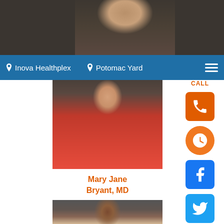[Figure (photo): Cropped top portion of a female doctor photo, dark background]
📍 Inova Healthplex   📍 Potomac Yard
[Figure (photo): Dr. Mary Jane Bryant in a red top, professional headshot]
Mary Jane Bryant, MD
[Figure (photo): Second female doctor in white coat, professional headshot]